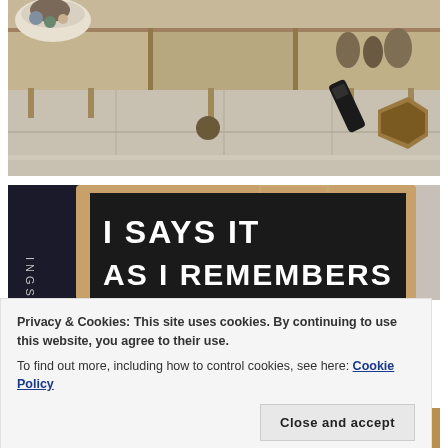[Figure (photo): Interior room photo showing a wooden media console/TV stand with decorative items on shelves, a cat resting in a round basket bed on the left, tile flooring, a remote control, and a wooden hexagonal desk organizer in the foreground.]
[Figure (photo): Photo of a black felt letter board in a wooden frame, hanging by a rope. Text on the board reads 'I SAYS IT AS I REMEMBERS' (partially visible). A book or poster is visible to the left.]
Privacy & Cookies: This site uses cookies. By continuing to use this website, you agree to their use.
To find out more, including how to control cookies, see here: Cookie Policy
Close and accept
[Figure (photo): Partial photo at the bottom showing what appears to be golden/brass decorative items.]